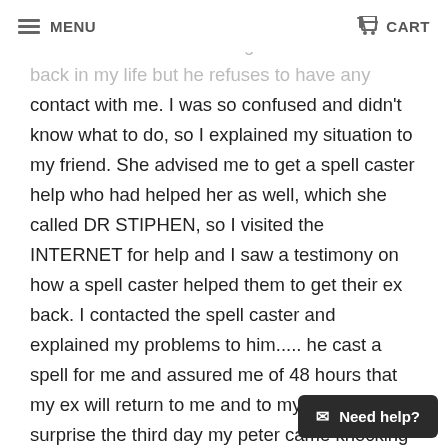MENU  CART
someone else and insulting him. I want him back in my life but he refuses to have any contact with me. I was so confused and didn't know what to do, so I explained my situation to my friend. She advised me to get a spell caster help who had helped her as well, which she called DR STIPHEN, so I visited the INTERNET for help and I saw a testimony on how a spell caster helped them to get their ex back. I contacted the spell caster and explained my problems to him..... he cast a spell for me and assured me of 48 hours that my ex will return to me and to my greatest surprise the third day my peter came knocking on my door and begged for forgiveness. I am so